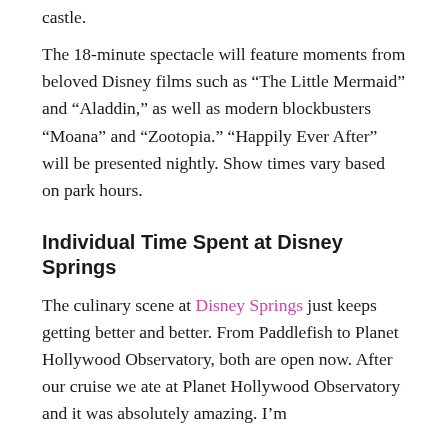castle.
The 18-minute spectacle will feature moments from beloved Disney films such as “The Little Mermaid” and “Aladdin,” as well as modern blockbusters “Moana” and “Zootopia.” “Happily Ever After” will be presented nightly. Show times vary based on park hours.
Individual Time Spent at Disney Springs
The culinary scene at Disney Springs just keeps getting better and better. From Paddlefish to Planet Hollywood Observatory, both are open now. After our cruise we ate at Planet Hollywood Observatory and it was absolutely amazing. I’m